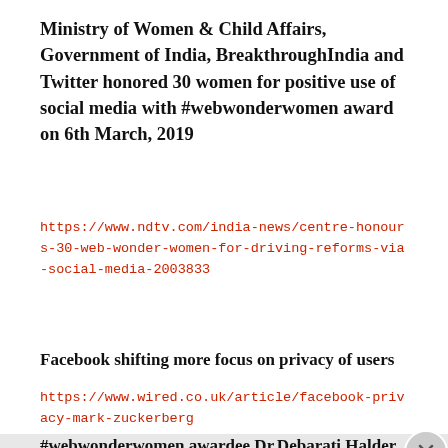Ministry of Women & Child Affairs, Government of India, BreakthroughIndia and Twitter honored 30 women for positive use of social media with #webwonderwomen award on 6th March, 2019
https://www.ndtv.com/india-news/centre-honours-30-web-wonder-women-for-driving-reforms-via-social-media-2003833
Facebook shifting more focus on privacy of users
https://www.wired.co.uk/article/facebook-privacy-mark-zuckerberg
#webwonderwomen awardee Dr.Debarati Halder speaks
[Figure (other): DuckDuckGo advertisement banner with orange background showing 'Search, browse, and email with more privacy. All in One Free App' with DuckDuckGo logo and phone image]